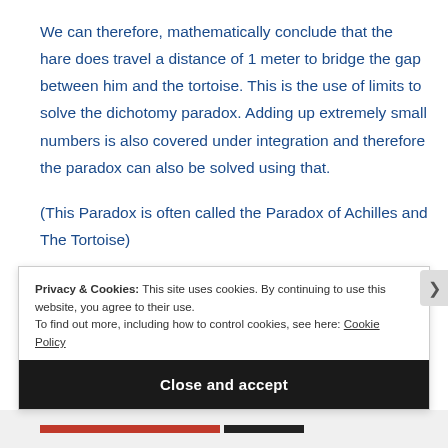We can therefore, mathematically conclude that the hare does travel a distance of 1 meter to bridge the gap between him and the tortoise. This is the use of limits to solve the dichotomy paradox. Adding up extremely small numbers is also covered under integration and therefore the paradox can also be solved using that.
(This Paradox is often called the Paradox of Achilles and The Tortoise)
Privacy & Cookies: This site uses cookies. By continuing to use this website, you agree to their use.
To find out more, including how to control cookies, see here: Cookie Policy
Close and accept